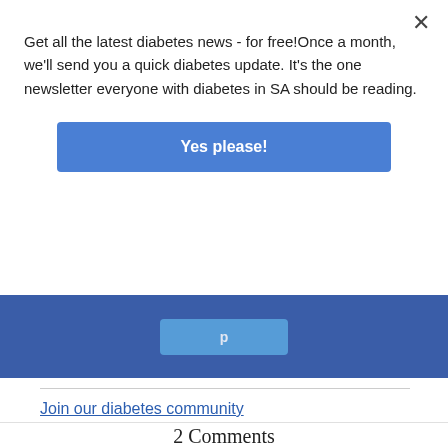Get all the latest diabetes news - for free!Once a month, we'll send you a quick diabetes update. It's the one newsletter everyone with diabetes in SA should be reading.
Yes please!
Join our diabetes community
2 Comments